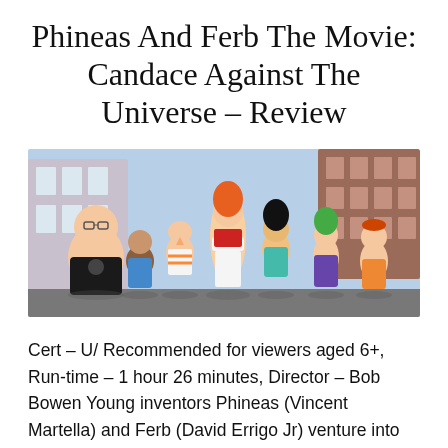Phineas And Ferb The Movie: Candace Against The Universe – Review
[Figure (illustration): Animated cartoon characters from Phineas and Ferb movie standing in a group on a street background. Characters include a large man in black skull t-shirt, a boy in blue overalls, Phineas in orange and white striped shirt, Candace in white skirt and red top with orange hair, a girl with black hair in teal outfit, Ferb with green hair, and Isabella in orange outfit.]
Cert – U/ Recommended for viewers aged 6+, Run-time – 1 hour 26 minutes, Director – Bob Bowen Young inventors Phineas (Vincent Martella) and Ferb (David Errigo Jr) venture into space to rescue their older sister